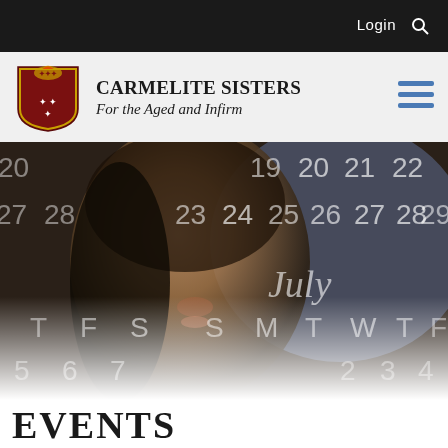Login  🔍
[Figure (logo): Carmelite Sisters heraldic crest/shield logo]
CARMELITE SISTERS
For the Aged and Infirm
[Figure (photo): Hero image: close-up of a woman's face (Mona Lisa style painting) overlaid with semi-transparent calendar dates and day letters (July calendar, dates 19-29, day letters S M T W T F S, numbers 5 6 7 and 23 24 25 26 27 28 29). The image fades to white at the bottom.]
EVENTS